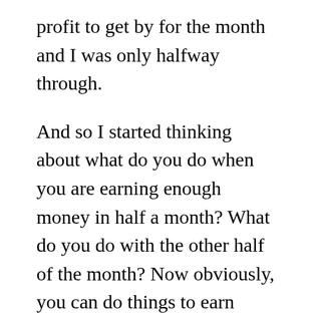profit to get by for the month and I was only halfway through.
And so I started thinking about what do you do when you are earning enough money in half a month? What do you do with the other half of the month? Now obviously, you can do things to earn more money or to prepare for the leaner months which we know I have had in the past, but I wanted to think about ‘okay, I know I want to dedicate 2 to 3 days to On Property exclusively and basically